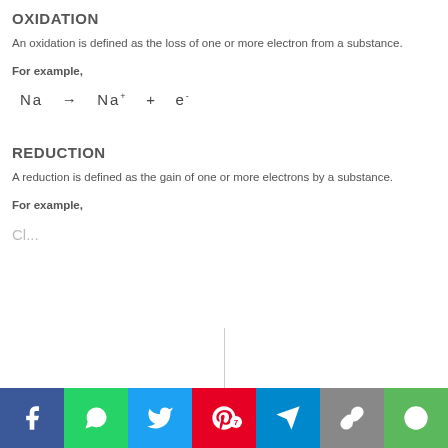OXIDATION
An oxidation is defined as the loss of one or more electron from a substance.
For example,
REDUCTION
A reduction is defined as the gain of one or more electrons by a substance.
For example,
Cl...